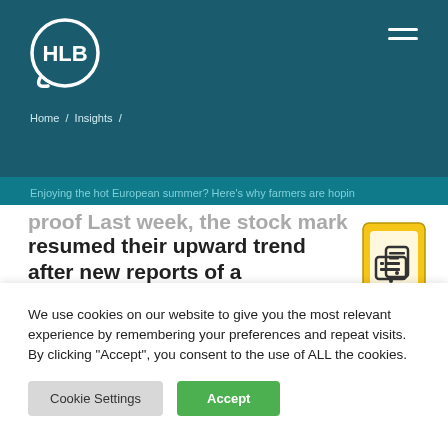[Figure (logo): HLB logo — white circle with HLB text inside on dark teal background]
Home / Insights /
Enjoying the hot European summer? Here's why farmers are hopin
proof Last week, the stock markets resumed their upward trend after new reports of a disappointing yields. In Russia, the persistent drought is damaging crops. Western European suppliers are
[Figure (illustration): Yellow icon showing two mobile devices/tablets with chat/document symbols]
We use cookies on our website to give you the most relevant experience by remembering your preferences and repeat visits. By clicking "Accept", you consent to the use of ALL the cookies.
Cookie Settings
Accept